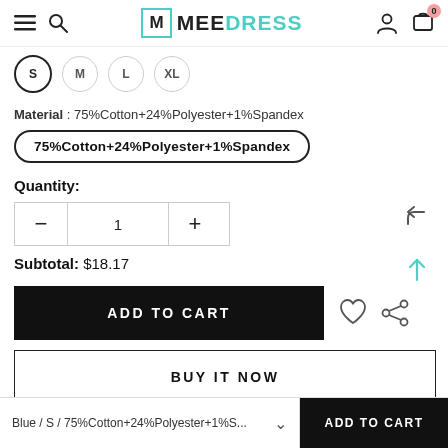MEE DRESS — navigation header with hamburger, search, logo, user, and cart icons
S  M  L  XL — size selector buttons
Material : 75%Cotton+24%Polyester+1%Spandex
75%Cotton+24%Polyester+1%Spandex
Quantity:
1
Subtotal:  $18.17
ADD TO CART
BUY IT NOW
Blue / S / 75%Cotton+24%Polyester+1%S...
ADD TO CART